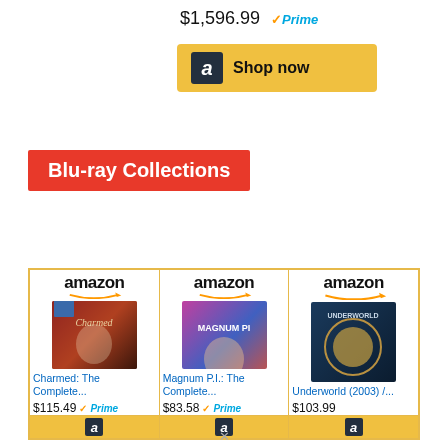$1,596.99 ✓Prime
[Figure (screenshot): Amazon Shop now button with golden background and Amazon logo]
Blu-ray Collections
[Figure (screenshot): Three Amazon product cards: Charmed: The Complete... $115.49 Prime, Magnum P.I.: The Complete... $83.58 Prime, Underworld (2003) /... $103.99]